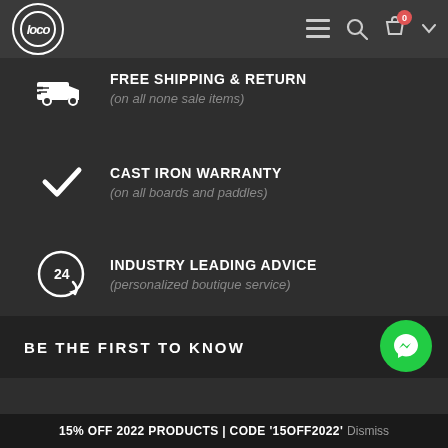Loco — navigation header with logo, menu, search, cart (0)
FREE SHIPPING & RETURN (on all none sale items)
CAST IRON WARRANTY (on all boards and paddles)
INDUSTRY LEADING ADVICE (personalized boutique service)
BE THE FIRST TO KNOW
15% OFF 2022 PRODUCTS | CODE '15OFF2022' Dismiss